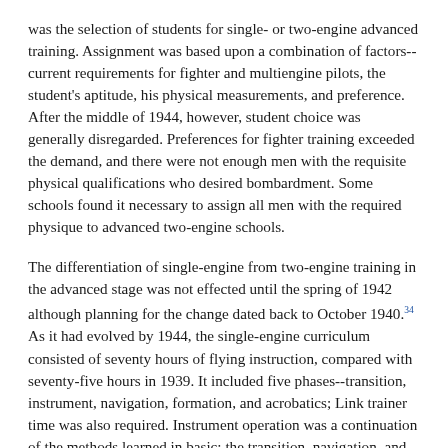was the selection of students for single- or two-engine advanced training. Assignment was based upon a combination of factors--current requirements for fighter and multiengine pilots, the student's aptitude, his physical measurements, and preference. After the middle of 1944, however, student choice was generally disregarded. Preferences for fighter training exceeded the demand, and there were not enough men with the requisite physical qualifications who desired bombardment. Some schools found it necessary to assign all men with the required physique to advanced two-engine schools.
The differentiation of single-engine from two-engine training in the advanced stage was not effected until the spring of 1942 although planning for the change dated back to October 1940.[34] As it had evolved by 1944, the single-engine curriculum consisted of seventy hours of flying instruction, compared with seventy-five hours in 1939. It included five phases--transition, instrument, navigation, formation, and acrobatics; Link trainer time was also required. Instrument operation was a continuation of the methods learned in basic; the transition, navigation, and formation phases all required night flights. In response to the lessons of war, increasing emphasis was placed on formation flying, especially at high altitudes and using the close, three-plane V-formation. Acrobatics included all conventional combat maneuvers within the performance limits of the advanced